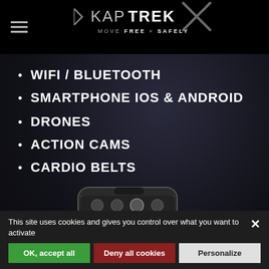[Figure (logo): KapTrek logo with tagline MOVE FREE X SAFELY and X graphic mark on black header bar]
WIFI / BLUETOOTH
SMARTPHONE IOS & ANDROID
DRONES
ACTION CAMS
CARDIO BELTS
[Figure (screenshot): Smartphone displaying a mapping/navigation app with route tracking and control icons at the top]
This site uses cookies and gives you control over what you want to activate
OK, accept all | Deny all cookies | Personalize